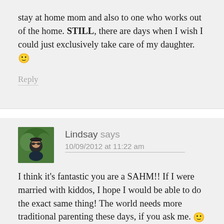stay at home mom and also to one who works out of the home. STILL, there are days when I wish I could just exclusively take care of my daughter. 🙂
Reply
Lindsay says
10/09/2012 at 11:22 am
I think it's fantastic you are a SAHM!! If I were married with kiddos, I hope I would be able to do the exact same thing! The world needs more traditional parenting these days, if you ask me. 🙂 You have to remember that nowadays, people are so